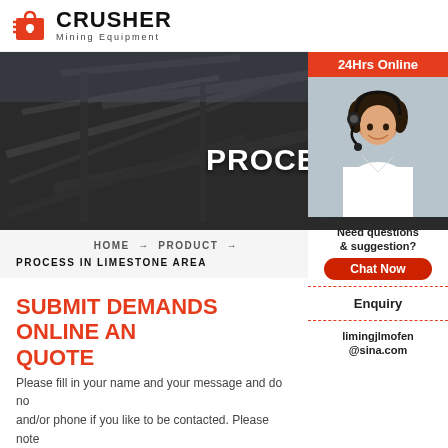[Figure (logo): Crusher Mining Equipment logo with red shopping bag icon and bold CRUSHER text]
[Figure (photo): Dark industrial mining equipment banner background with large white text 'PROCESS IN LIMESTONE AREAS']
PROCESS IN LIMESTONE AREAS
HOME → PRODUCT → PROCESS IN LIMESTONE AREA
[Figure (photo): Customer service representative with headset, 24Hrs Online sidebar panel with chat options]
SUBMIT DEMANDS ONLINE AND GET QUOTE
Please fill in your name and your message and do not forget mail and/or phone if you like to be contacted. Please note that you need to have a mail programme to use this function.